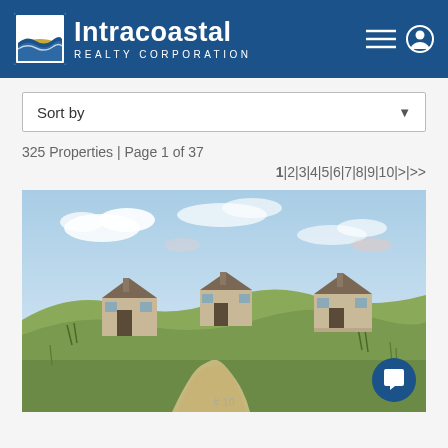Intracoastal REALTY CORPORATION
Sort by
325 Properties | Page 1 of 37
1|2|3|4|5|6|7|8|9|10|>|>>
[Figure (photo): Coastal scene with three small beach cottages on grassy sand dunes with a sandy path in the foreground under a partly cloudy sky.]